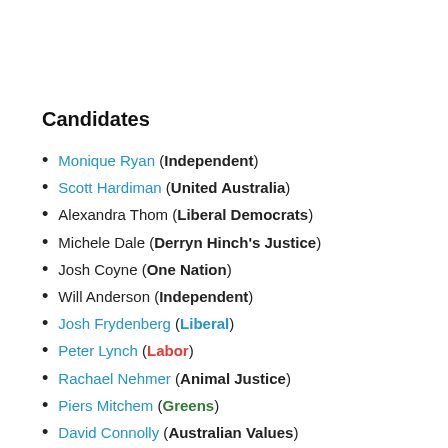Candidates
Monique Ryan (Independent)
Scott Hardiman (United Australia)
Alexandra Thom (Liberal Democrats)
Michele Dale (Derryn Hinch's Justice)
Josh Coyne (One Nation)
Will Anderson (Independent)
Josh Frydenberg (Liberal)
Peter Lynch (Labor)
Rachael Nehmer (Animal Justice)
Piers Mitchem (Greens)
David Connolly (Australian Values)